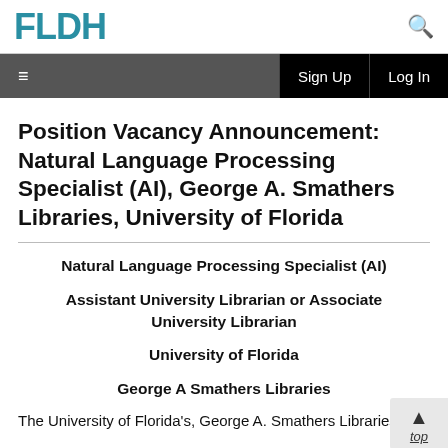FLDH
Position Vacancy Announcement: Natural Language Processing Specialist (AI), George A. Smathers Libraries, University of Florida
Natural Language Processing Specialist (AI)
Assistant University Librarian or Associate University Librarian
University of Florida
George A Smathers Libraries
The University of Florida's, George A. Smathers Libraries